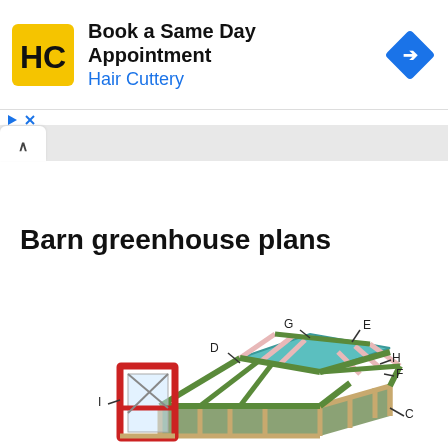[Figure (screenshot): Advertisement banner for Hair Cuttery showing HC logo, 'Book a Same Day Appointment' text, 'Hair Cuttery' link in blue, and a blue diamond navigation arrow icon]
Barn greenhouse plans
[Figure (engineering-diagram): 3D engineering diagram of a barn greenhouse frame structure with labeled parts: D (top left rafter/wall plate), G (ridge beam at top), E (top right rafter), H (upper right diagonal brace), F (right side vertical), I (left door frame in red), C (bottom right corner post). The frame shows wooden beams in green/tan colors with a gambrel/barn roof shape and a teal ridge panel.]